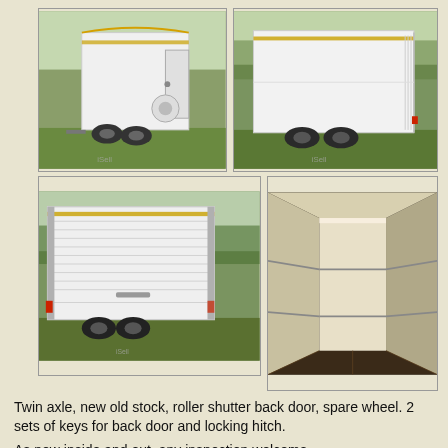[Figure (photo): Four photos of a white twin-axle box trailer with roller shutter back door. Top-left: front view outdoors. Top-right: side/rear view outdoors. Bottom-left: rear view showing roller shutter. Bottom-right: interior view looking in.]
Twin axle, new old stock, roller shutter back door, spare wheel. 2 sets of keys for back door and locking hitch.
As new inside and out, any inspection welcome.
Price:   £3,295 ono
Location:   Dartford
Contact:   John